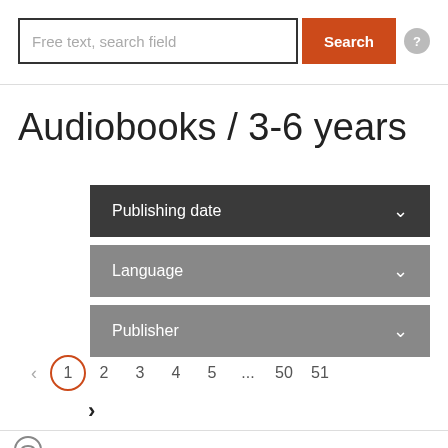[Figure (screenshot): Search bar with text input field labeled 'Free text, search field', an orange Search button, and a grey circular help icon with question mark]
Audiobooks / 3-6 years
[Figure (other): Three dropdown filter buttons: 'Publishing date' (dark grey), 'Language' (grey), 'Publisher' (grey), each with a chevron arrow]
[Figure (other): Pagination control showing left arrow, pages 1 (active, circled in red), 2, 3, 4, 5, ..., 50, 51, and a right arrow below page 1]